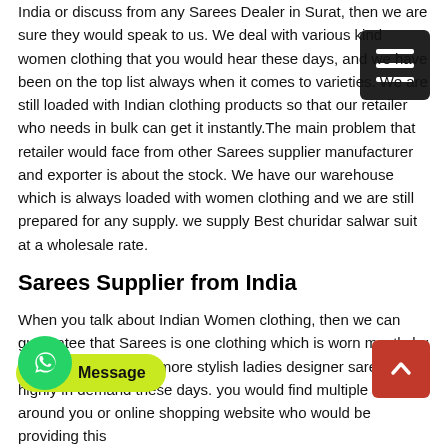India or discuss from any Sarees Dealer in Surat, then we are sure they would speak to us. We deal with various kind women clothing that you would hear these days, and we have been on the top list always when it comes to varieties. We are still loaded with Indian clothing products so that our retailer who needs in bulk can get it instantly.The main problem that retailer would face from other Sarees supplier manufacturer and exporter is about the stock. We have our warehouse which is always loaded with women clothing and we are still prepared for any supply. we supply Best churidar salwar suit at a wholesale rate.
Sarees Supplier from India
When you talk about Indian Women clothing, then we can guarantee that Sarees is one clothing which is worn mostly by the ladies. To keep it more stylish ladies designer sarees is highly in demand these days. you would find multiple shops around you or online shopping website who would be providing this
[Figure (other): Hamburger menu icon button, dark background with three white horizontal lines]
[Figure (other): WhatsApp green circular icon button]
Message
[Figure (other): Red scroll-to-top button with upward chevron arrow]